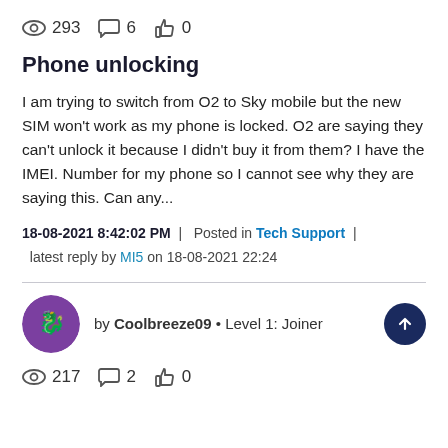👁 293  💬 6  👍 0
Phone unlocking
I am trying to switch from O2 to Sky mobile but the new SIM won't work as my phone is locked. O2 are saying they can't unlock it because I didn't buy it from them? I have the IMEI. Number for my phone so I cannot see why they are saying this. Can any...
18-08-2021 8:42:02 PM  |  Posted in Tech Support  |  latest reply by MI5 on 18-08-2021 22:24
by Coolbreeze09 • Level 1: Joiner
👁 217  💬 2  👍 0